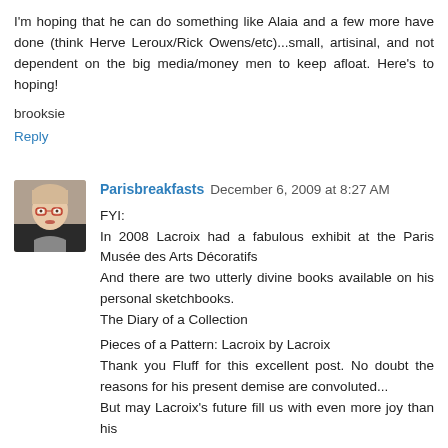I'm hoping that he can do something like Alaia and a few more have done (think Herve Leroux/Rick Owens/etc)...small, artisinal, and not dependent on the big media/money men to keep afloat. Here's to hoping!
brooksie
Reply
[Figure (photo): Avatar photo of Parisbreakfasts commenter — woman with glasses]
Parisbreakfasts December 6, 2009 at 8:27 AM
FYI:
In 2008 Lacroix had a fabulous exhibit at the Paris Musée des Arts Décoratifs
And there are two utterly divine books available on his personal sketchbooks.
The Diary of a Collection

Pieces of a Pattern: Lacroix by Lacroix
Thank you Fluff for this excellent post. No doubt the reasons for his present demise are convoluted...
But may Lacroix's future fill us with even more joy than his